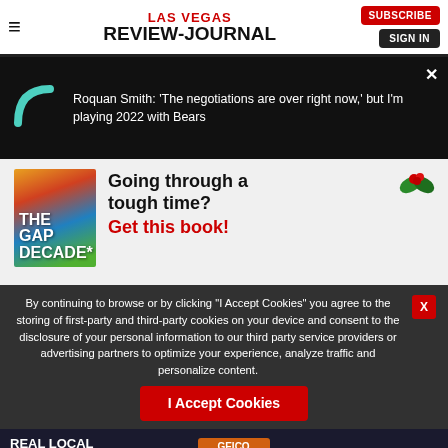LAS VEGAS REVIEW-JOURNAL
[Figure (screenshot): Breaking news banner with teal arc graphic and text: Roquan Smith: 'The negotiations are over right now,' but I'm playing 2022 with Bears]
[Figure (infographic): Advertisement for 'The Gap Decade' book with holly decoration, book cover image, and text 'Going through a tough time? Get this book!']
By continuing to browse or by clicking "I Accept Cookies" you agree to the storing of first-party and third-party cookies on your device and consent to the disclosure of your personal information to our third party service providers or advertising partners to optimize your experience, analyze traffic and personalize content.
[Figure (infographic): Bottom advertisement strip: REAL LOCAL SAVINGS | GEICO 700-640-0057]